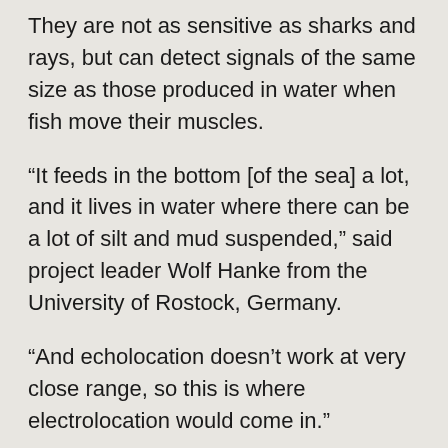They are not as sensitive as sharks and rays, but can detect signals of the same size as those produced in water when fish move their muscles.
“It feeds in the bottom [of the sea] a lot, and it lives in water where there can be a lot of silt and mud suspended,” said project leader Wolf Hanke from the University of Rostock, Germany.
“And echolocation doesn’t work at very close range, so this is where electrolocation would come in.”
Sensible science
Captive Guiana dolphins are rare; but they have been kept at the zoo in Muenster, also in Germany.
The zoo is among those that have been criticised by animal rights campaigners in recent years, who argue